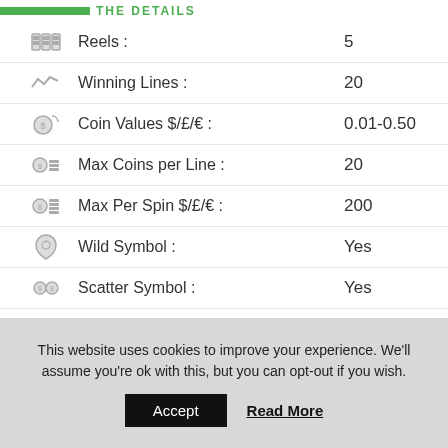THE DETAILS
| Icon | Feature | Value |
| --- | --- | --- |
| [reels icon] | Reels : | 5 |
| [lines icon] | Winning Lines : | 20 |
| [coin icon] | Coin Values $/£/€ : | 0.01-0.50 |
| [coins icon] | Max Coins per Line : | 20 |
| [spin icon] | Max Per Spin $/£/€ : | 200 |
| [wild icon] | Wild Symbol : | Yes |
| [scatter icon] | Scatter Symbol : | Yes |
| [bonus icon] | Bonus Features : | Yes |
| [progressive icon] | Progressive : | No |
This website uses cookies to improve your experience. We'll assume you're ok with this, but you can opt-out if you wish.
Accept
Read More